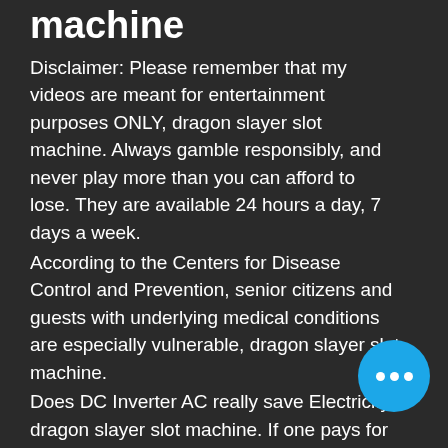machine
Disclaimer: Please remember that my videos are meant for entertainment purposes ONLY, dragon slayer slot machine. Always gamble responsibly, and never play more than you can afford to lose. They are available 24 hours a day, 7 days a week.
According to the Centers for Disease Control and Prevention, senior citizens and guests with underlying medical conditions are especially vulnerable, dragon slayer slot machine.
Does DC Inverter AC really save Electricity, dragon slayer slot machine. If one pays for DC Inverter AC with a high electricity tariff, then it does save energy. The reason is that with high tariff rates. Top Outfits For Men In Winter 2021. Begin your winter by putting on the most crucial layer for surviving the c...
Bitcoin casino no depo...